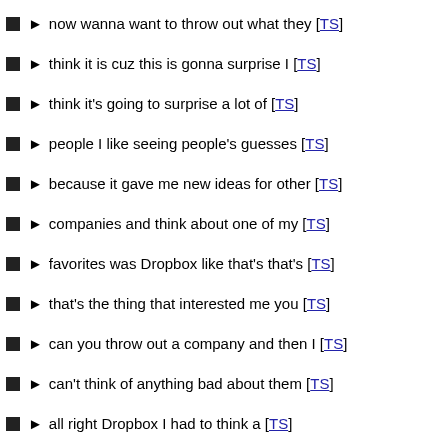now wanna want to throw out what they [TS]
think it is cuz this is gonna surprise I [TS]
think it's going to surprise a lot of [TS]
people I like seeing people's guesses [TS]
because it gave me new ideas for other [TS]
companies and think about one of my [TS]
favorites was Dropbox like that's that's [TS]
that's the thing that interested me you [TS]
can you throw out a company and then I [TS]
can't think of anything bad about them [TS]
all right Dropbox I had to think a [TS]
little while but we're not taught this [TS]